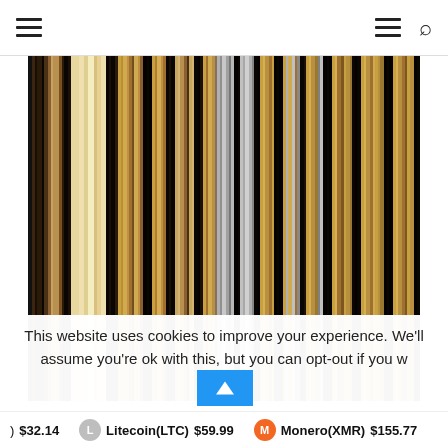Navigation header with hamburger menu icons and search icon
[Figure (illustration): Abstract vertical stripes in varying widths and colors including black, brown, gold, tan, cream, white, and grey forming a barcode-like pattern]
This website uses cookies to improve your experience. We'll assume you're ok with this, but you can opt-out if you w
) $32.14   Litecoin(LTC) $59.99   Monero(XMR) $155.77